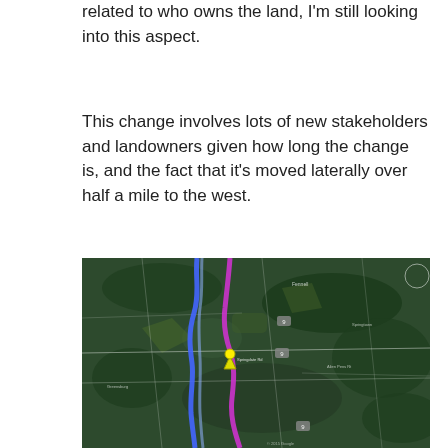related to who owns the land, I'm still looking into this aspect.
This change involves lots of new stakeholders and landowners given how long the change is, and the fact that it's moved laterally over half a mile to the west.
[Figure (map): Aerial/satellite map showing a route change with a blue line (existing route) and a purple/magenta line (proposed new route) running roughly north-south through a forested, rural area. A yellow marker is visible near the center where the routes diverge.]